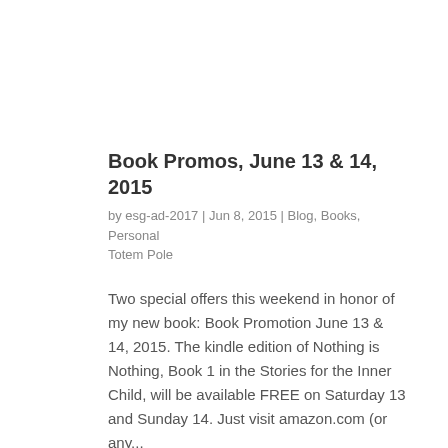Book Promos, June 13 & 14, 2015
by esg-ad-2017 | Jun 8, 2015 | Blog, Books, Personal Totem Pole
Two special offers this weekend in honor of my new book: Book Promotion June 13 & 14, 2015. The kindle edition of Nothing is Nothing, Book 1 in the Stories for the Inner Child, will be available FREE on Saturday 13 and Sunday 14. Just visit amazon.com (or any...